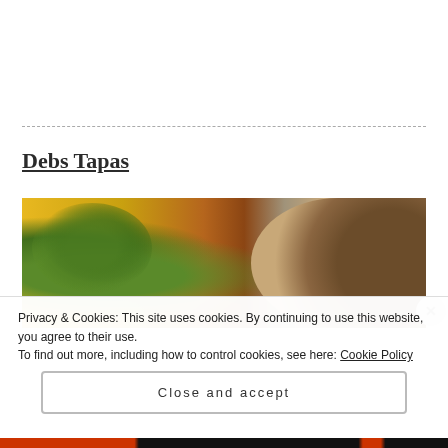Debs Tapas
[Figure (photo): Food photograph showing yellow/mango slices with green leafy garnish on the left and a round bread/crumble dish on the right, viewed from above on a table]
Privacy & Cookies: This site uses cookies. By continuing to use this website, you agree to their use.
To find out more, including how to control cookies, see here: Cookie Policy
Close and accept